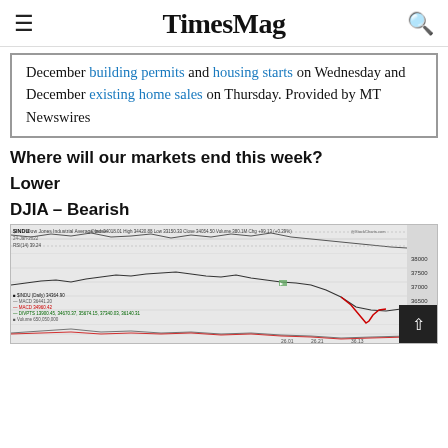TimesMag
December building permits and housing starts on Wednesday and December existing home sales on Thursday. Provided by MT Newswires
Where will our markets end this week?
Lower
DJIA – Bearish
[Figure (continuous-plot): $INDU Dow Jones Industrial Average Index daily chart from StockCharts.com showing MACD, price action, and volume as of 24-Jan-2022. Open 34018.01 High 34420.88 Low 33150.33 Close 34054.50 Volume 380.1M Chg +99.13 (+0.29%). RSI(14) 39.24. Price shows recent sharp decline. Price levels around 35000-38000 visible on right axis.]